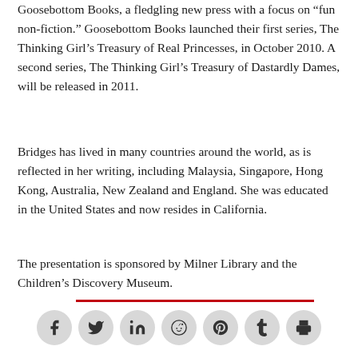Goosebottom Books, a fledgling new press with a focus on “fun non-fiction.” Goosebottom Books launched their first series, The Thinking Girl’s Treasury of Real Princesses, in October 2010. A second series, The Thinking Girl’s Treasury of Dastardly Dames, will be released in 2011.
Bridges has lived in many countries around the world, as is reflected in her writing, including Malaysia, Singapore, Hong Kong, Australia, New Zealand and England. She was educated in the United States and now resides in California.
The presentation is sponsored by Milner Library and the Children’s Discovery Museum.
[Figure (other): A horizontal red divider line followed by a row of seven social media icon buttons (Facebook, Twitter, LinkedIn, Reddit, Pinterest, Tumblr, Print) each in a grey circle.]